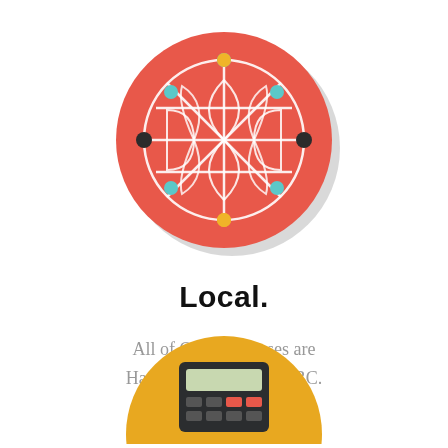[Figure (illustration): Flat design network/globe icon: a coral-red circle with a white geometric network pattern (interconnected nodes in a globe-like arrangement) with teal, yellow, and dark dots at node points]
Local.
All of Our Mattresses are Handcrafted in Surrey, BC.
[Figure (illustration): Flat design calculator icon: a golden-yellow circle with a dark calculator illustration, partially visible at bottom of page]